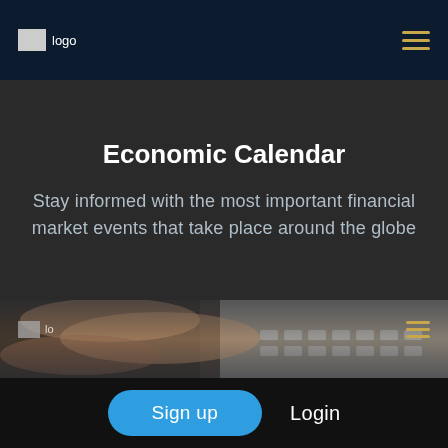logo | hamburger menu
Economic Calendar
Stay informed with the most important financial market events that take place around the globe
[Figure (photo): Close-up of hands typing on a laptop keyboard, dimly lit, dark background]
logo | hamburger menu (overlay)
Sign up
Login